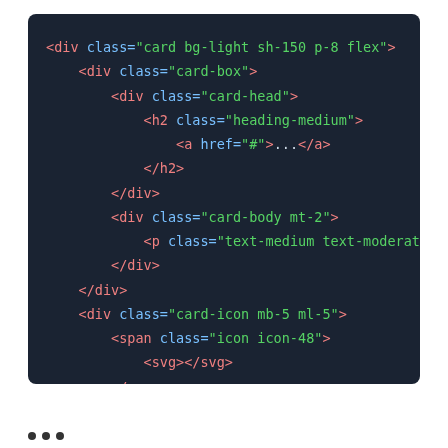[Figure (screenshot): Code editor screenshot showing HTML code with dark background. The code shows a card component with nested divs including card-box, card-head, card-body, and card-icon classes. Tags are shown in red/pink and attribute values in green, attribute names in blue.]